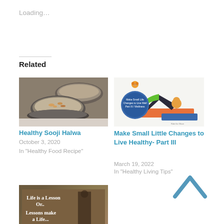Loading…
Related
[Figure (photo): Photo of bowls of Healthy Sooji Halwa, a Indian semolina dessert with nuts on top, in steel bowls]
Healthy Sooji Halwa
October 3, 2020
In "Healthy Food Recipe"
[Figure (illustration): Illustration for wellness article showing a cartoon person doing yoga/downward dog pose with a circular badge reading Make Small Life Changes to Live Well Part III / Wellness]
Make Small Little Changes to Live Healthy- Part III
March 19, 2022
In "Healthy Living Tips"
[Figure (photo): Photo/motivational image with text: Life is a Lesson Or.. Lessons make a Life...]
[Figure (other): Up chevron arrow icon in blue/teal color for back-to-top navigation]